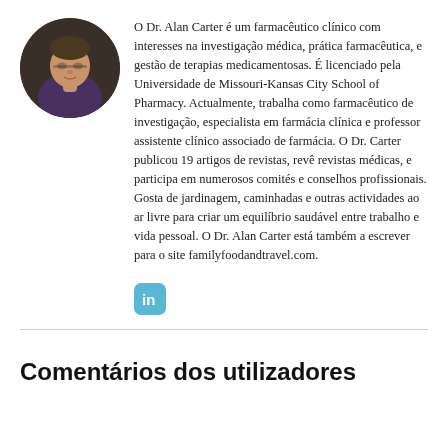[Figure (photo): Circular portrait photo of Dr. Alan Carter, a middle-aged man with glasses and a dark shirt, set against a dark background.]
O Dr. Alan Carter é um farmacêutico clínico com interesses na investigação médica, prática farmacêutica, e gestão de terapias medicamentosas. É licenciado pela Universidade de Missouri-Kansas City School of Pharmacy. Actualmente, trabalha como farmacêutico de investigação, especialista em farmácia clínica e professor assistente clínico associado de farmácia. O Dr. Carter publicou 19 artigos de revistas, revê revistas médicas, e participa em numerosos comités e conselhos profissionais. Gosta de jardinagem, caminhadas e outras actividades ao ar livre para criar um equilíbrio saudável entre trabalho e vida pessoal. O Dr. Alan Carter está também a escrever para o site familyfoodandtravel.com.
[Figure (logo): LinkedIn icon button — white 'in' letters on a light blue rounded rectangle background.]
Comentários dos utilizadores